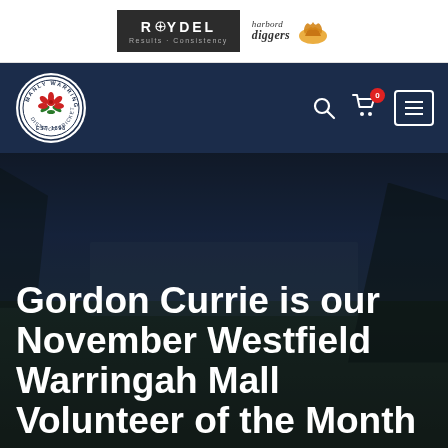[Figure (logo): Rwydel sponsor logo (dark background) and Harbord Diggers sponsor logo side by side in white sponsor bar]
[Figure (logo): Manly Warringah District Cricket Club circular logo with red flower, dark navy navigation bar with search, cart (0), and menu icons]
[Figure (photo): Dark background hero image of a cricket ground at dusk with buildings and trees visible]
Gordon Currie is our November Westfield Warringah Mall Volunteer of the Month